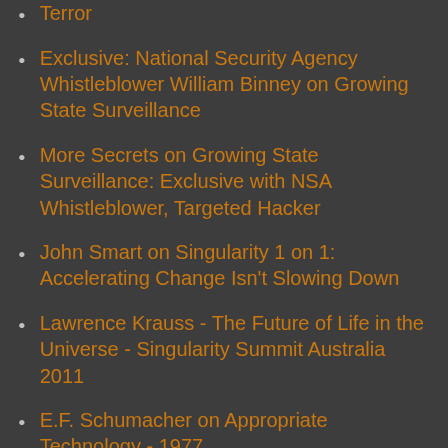Terror
Exclusive: National Security Agency Whistleblower William Binney on Growing State Surveillance
More Secrets on Growing State Surveillance: Exclusive with NSA Whistleblower, Targeted Hacker
John Smart on Singularity 1 on 1: Accelerating Change Isn't Slowing Down
Lawrence Krauss - The Future of Life in the Universe - Singularity Summit Australia 2011
E.F. Schumacher on Appropriate Technology - 1977